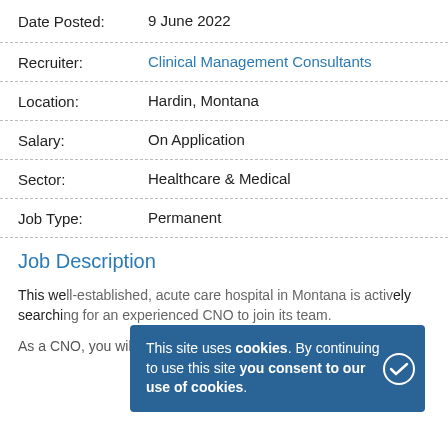Date Posted: 9 June 2022
Recruiter: Clinical Management Consultants
Location: Hardin, Montana
Salary: On Application
Sector: Healthcare & Medical
Job Type: Permanent
Job Description
This well-established, acute care hospital in Montana is actively searching for an experienced CNO to join its team.
This site uses cookies. By continuing to use this site you consent to our use of cookies.
As a CNO, you will be joining a thriving hospital that has been